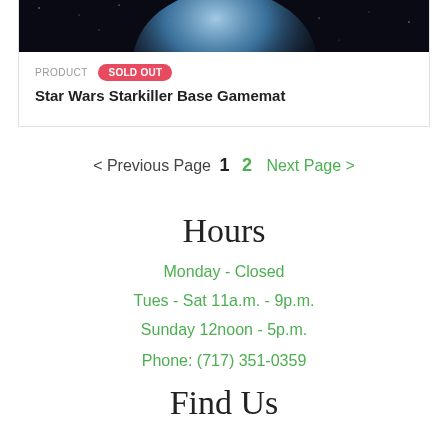[Figure (photo): Dark space/planet image at top of product card]
PRODUCT  SOLD OUT
Star Wars Starkiller Base Gamemat
< Previous Page   1  2  Next Page >
Hours
Monday - Closed
Tues - Sat 11a.m. - 9p.m.
Sunday 12noon - 5p.m.
Phone: (717) 351-0359
Find Us